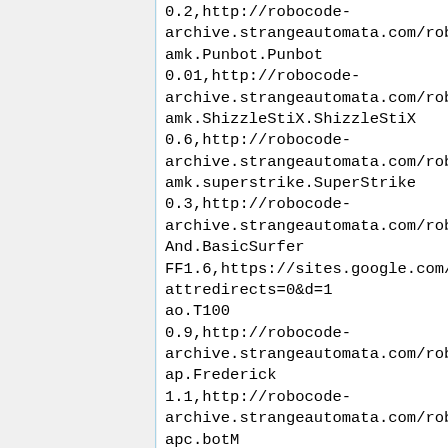0.2,http://robocode-archive.strangeautomata.com/rob
amk.Punbot.Punbot
0.01,http://robocode-archive.strangeautomata.com/rob
amk.ShizzleStiX.ShizzleStiX
0.6,http://robocode-archive.strangeautomata.com/rob
amk.superstrike.SuperStrike
0.3,http://robocode-archive.strangeautomata.com/rob
And.BasicSurfer
FF1.6,https://sites.google.com/attredirects=0&d=1
ao.T100
0.9,http://robocode-archive.strangeautomata.com/rob
ap.Frederick
1.1,http://robocode-archive.strangeautomata.com/rob
apc.botM
3.0,http://robocode-archive.strangeautomata.com/rob
apc.Caan
1.0,http://robocode-